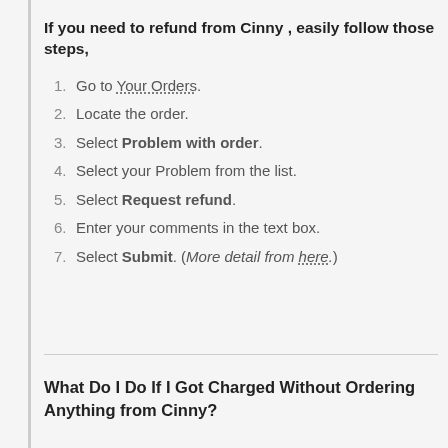If you need to refund from Cinny , easily follow those steps,
1. Go to Your Orders.
2. Locate the order.
3. Select Problem with order.
4. Select your Problem from the list.
5. Select Request refund.
6. Enter your comments in the text box.
7. Select Submit. (More detail from here.)
What Do I Do If I Got Charged Without Ordering Anything from Cinny?